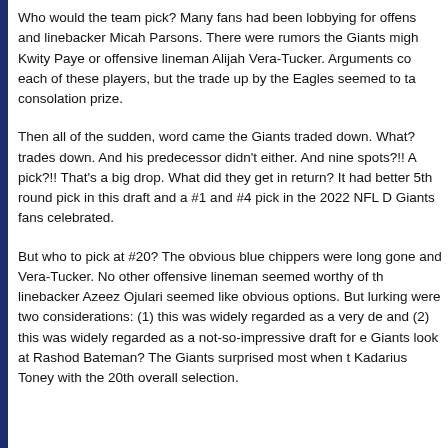Who would the team pick? Many fans had been lobbying for offens and linebacker Micah Parsons. There were rumors the Giants migh Kwity Paye or offensive lineman Alijah Vera-Tucker. Arguments co each of these players, but the trade up by the Eagles seemed to ta consolation prize.
Then all of the sudden, word came the Giants traded down. What? trades down. And his predecessor didn't either. And nine spots?!! A pick?!! That's a big drop. What did they get in return? It had better 5th round pick in this draft and a #1 and #4 pick in the 2022 NFL D Giants fans celebrated.
But who to pick at #20? The obvious blue chippers were long gone and Vera-Tucker. No other offensive lineman seemed worthy of th linebacker Azeez Ojulari seemed like obvious options. But lurking were two considerations: (1) this was widely regarded as a very de and (2) this was widely regarded as a not-so-impressive draft for e Giants look at Rashod Bateman? The Giants surprised most when t Kadarius Toney with the 20th overall selection.